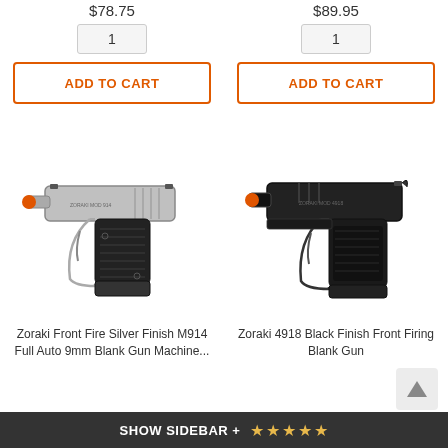$78.75
$89.95
1
1
ADD TO CART
ADD TO CART
[Figure (photo): Zoraki Front Fire Silver Finish M914 Full Auto 9mm Blank Gun Machine pistol photo]
[Figure (photo): Zoraki 4918 Black Finish Front Firing Blank Gun photo]
Zoraki Front Fire Silver Finish M914 Full Auto 9mm Blank Gun Machine...
Zoraki 4918 Black Finish Front Firing Blank Gun
SHOW SIDEBAR + ★★★★★